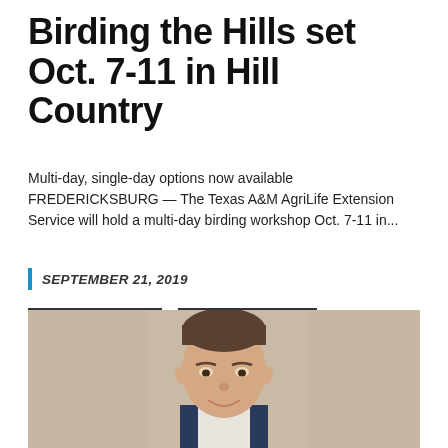Birding the Hills set Oct. 7-11 in Hill Country
Multi-day, single-day options now available FREDERICKSBURG — The Texas A&M AgriLife Extension Service will hold a multi-day birding workshop Oct. 7-11 in...
SEPTEMBER 21, 2019
ENVIRONMENT
FARM & RANCH
LAWN & GARDEN
NEWS
[Figure (photo): Headshot of a young man smiling, wearing a suit, in a beige interior setting]